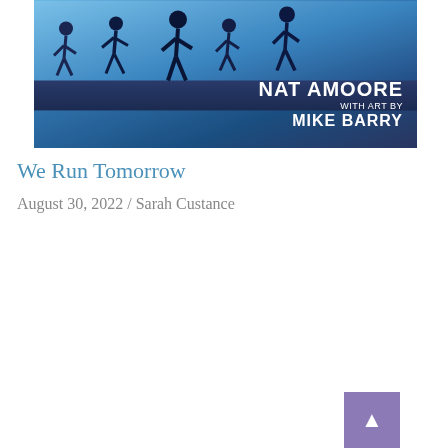[Figure (illustration): Book cover for 'We Run Tomorrow' by Nat Amoore with art by Mike Barry. Blue gradient background with silhouettes of running figures. Author name displayed prominently in white bold text.]
We Run Tomorrow
August 30, 2022 / Sarah Custance
[Figure (illustration): Book cover with teal/turquoise background with wave patterns, featuring yellow text 'HOW TO' and white text 'REPAINT' with partial text below, styled with grunge/brush stroke effect.]